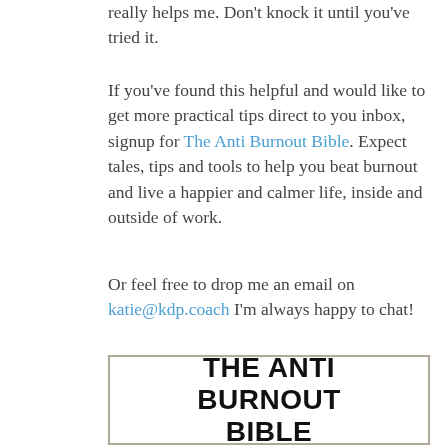really helps me. Don't knock it until you've tried it.
If you've found this helpful and would like to get more practical tips direct to you inbox, signup for The Anti Burnout Bible. Expect tales, tips and tools to help you beat burnout and live a happier and calmer life, inside and outside of work.
Or feel free to drop me an email on katie@kdp.coach I'm always happy to chat!
[Figure (other): Bordered box with large bold text reading THE ANTI BURNOUT BIBLE]